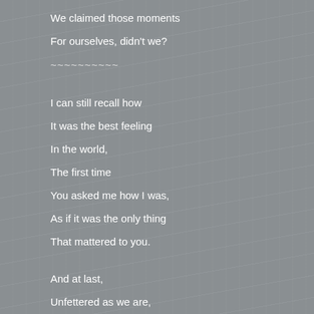We claimed those moments
For ourselves, didn't we?
~~~~~~~~~~

I can still recall how
It was the best feeling
In the world,
The first time
You asked me how I was,
As if it was the only thing
That mattered to you.

And at last,
Unfettered as we are,
See how far
We've come since.